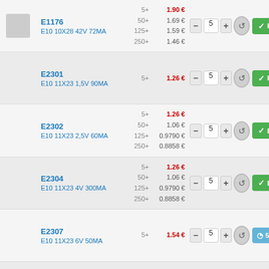| Product | Price tiers | Qty | Status |
| --- | --- | --- | --- |
| E1176
E10 10X28 42V 72MA | 5+: 1.90€, 50+: 1.69€, 125+: 1.59€, 250+: 1.46€ | 5 | En Stock |
| E2301
E10 11X23 1,5V 90MA | 5+: 1.26€ | 5 | En Stock |
| E2302
E10 11X23 2,5V 60MA | 5+: 1.26€, 50+: 1.06€, 125+: 0.9790€, 250+: 0.8858€ | 5 | En Stock |
| E2304
E10 11X23 4V 300MA | 5+: 1.26€, 50+: 1.06€, 125+: 0.9790€, 250+: 0.8858€ | 5 | En Stock |
| E2307
E10 11X23 6V 50MA | 5+: 1.54€ | 5 | 5 à 7 jo |
| E2308
E10 11X23 6V 100MA | 5+: 1.29€, 50+: 1.08€, 125+: 1.00€, 250+: 0.9102€ | 5 | 5 à 7 jo |